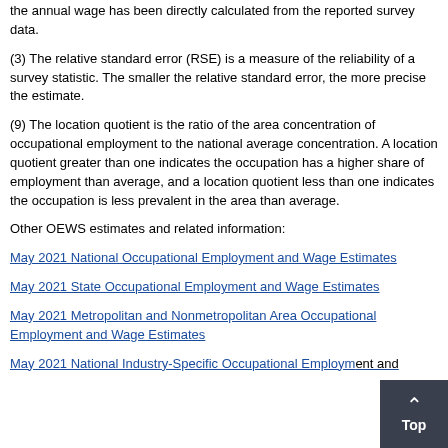the annual wage has been directly calculated from the reported survey data.
(3) The relative standard error (RSE) is a measure of the reliability of a survey statistic. The smaller the relative standard error, the more precise the estimate.
(9) The location quotient is the ratio of the area concentration of occupational employment to the national average concentration. A location quotient greater than one indicates the occupation has a higher share of employment than average, and a location quotient less than one indicates the occupation is less prevalent in the area than average.
Other OEWS estimates and related information:
May 2021 National Occupational Employment and Wage Estimates
May 2021 State Occupational Employment and Wage Estimates
May 2021 Metropolitan and Nonmetropolitan Area Occupational Employment and Wage Estimates
May 2021 National Industry-Specific Occupational Employment and